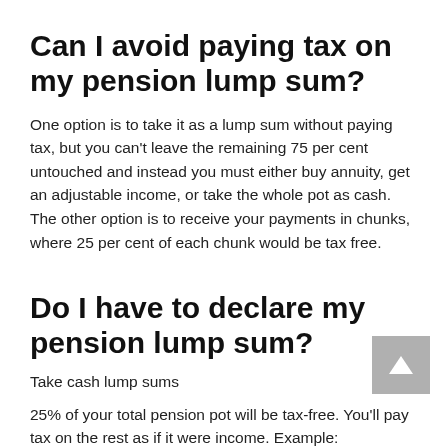Can I avoid paying tax on my pension lump sum?
One option is to take it as a lump sum without paying tax, but you can't leave the remaining 75 per cent untouched and instead you must either buy annuity, get an adjustable income, or take the whole pot as cash. The other option is to receive your payments in chunks, where 25 per cent of each chunk would be tax free.
Do I have to declare my pension lump sum?
Take cash lump sums
25% of your total pension pot will be tax-free. You'll pay tax on the rest as if it were income. Example: